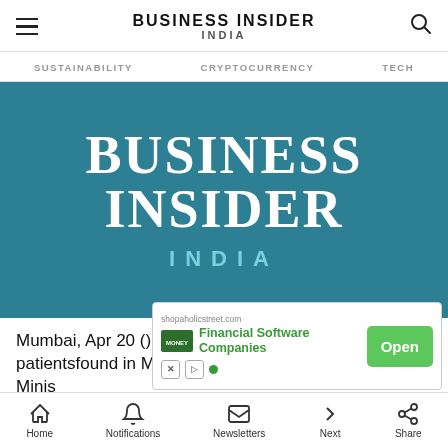BUSINESS INSIDER INDIA
SUSTAINABILITY   CRYPTOCURRENCY   TECH
[Figure (logo): Business Insider India logo on teal/blue background with large white text BUSINESS INSIDER and teal INDIA below]
Mumbai, Apr 20 () With 283 new COVID-19 patientsfound in Maharashtra, their tally increa… Minis…
[Figure (other): Advertisement overlay: shopaholicstreet.com Financial Software Companies with Open button]
Home   Notifications   Newsletters   Next   Share